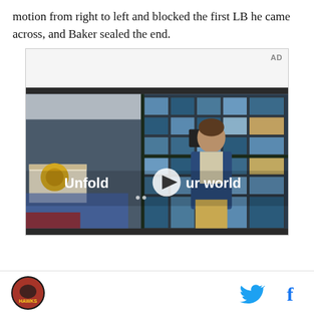motion from right to left and blocked the first LB he came across, and Baker sealed the end.
[Figure (screenshot): Video advertisement showing a young man walking in a cafeteria-like setting with a large tiled window wall behind him. Text overlay reads 'Unfold your world' with a play button icon. AD label in top right corner.]
Site logo (hawk emblem) on the left, Twitter and Facebook social icons on the right.